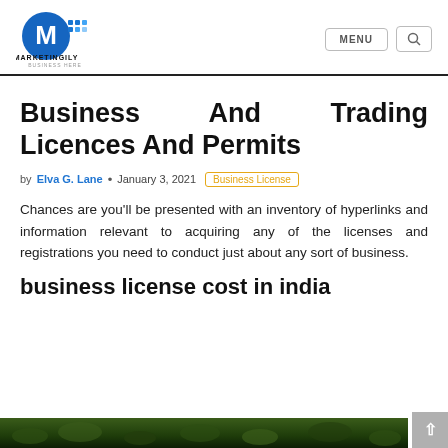[Figure (logo): Marketingily logo — circular blue M icon with dot grid, text MARKETINGILY BUSINESS HERE below]
by Elva G. Lane • January 3, 2021 Business License
Business And Trading Licences And Permits
by Elva G. Lane • January 3, 2021 Business License
Chances are you'll be presented with an inventory of hyperlinks and information relevant to acquiring any of the licenses and registrations you need to conduct just about any sort of business.
business license cost in india
[Figure (photo): Dark green foliage/nature image strip at the bottom of the page]